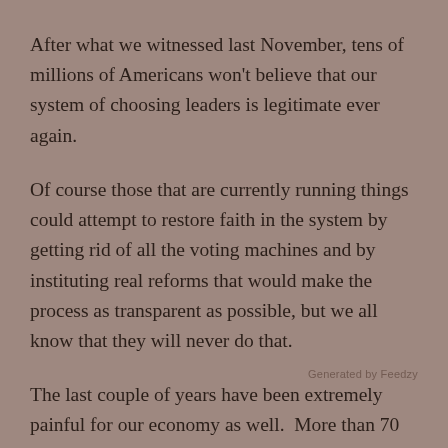After what we witnessed last November, tens of millions of Americans won't believe that our system of choosing leaders is legitimate ever again.
Of course those that are currently running things could attempt to restore faith in the system by getting rid of all the voting machines and by instituting real reforms that would make the process as transparent as possible, but we all know that they will never do that.
The last couple of years have been extremely painful for our economy as well.  More than 70 million Americans filed new claims for unemployment benefits last year, homeless encampments started popping up like mushrooms all over the